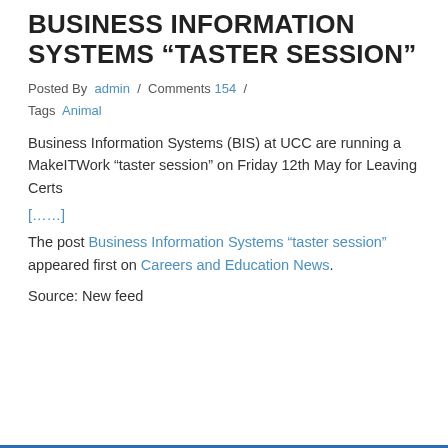BUSINESS INFORMATION SYSTEMS “TASTER SESSION”
Posted By  admin  /  Comments  154  /  Tags  Animal
Business Information Systems (BIS) at UCC are running a MakeITWork “taster session” on Friday 12th May for Leaving Certs
[……]
The post Business Information Systems “taster session” appeared first on Careers and Education News.
Source: New feed